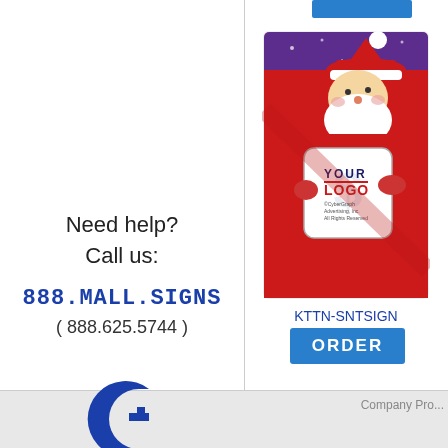[Figure (illustration): Santa Claus holding a white sign with a placeholder logo, on a red background with purple top, showing 'YOUR LOGO' text and CyberGraph Advertising Inc. copyright]
KTTN-SNTSIGN
[Figure (other): Blue ORDER button]
Need help?
Call us:
888.MALL.SIGNS
( 888.625.5744 )
[Figure (logo): CyberGraph G logo in blue]
Company Pro...